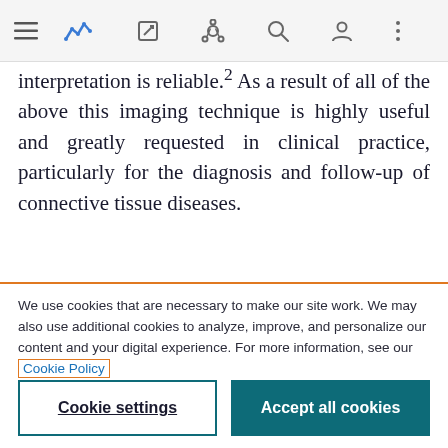[Figure (screenshot): Browser toolbar with hamburger menu, active analytics icon (blue), edit icon, share icon, search icon, profile icon, and more options icon on a light grey background.]
interpretation is reliable.² As a result of all of the above this imaging technique is highly useful and greatly requested in clinical practice, particularly for the diagnosis and follow-up of connective tissue diseases.
We use cookies that are necessary to make our site work. We may also use additional cookies to analyze, improve, and personalize our content and your digital experience. For more information, see our Cookie Policy
Cookie settings
Accept all cookies